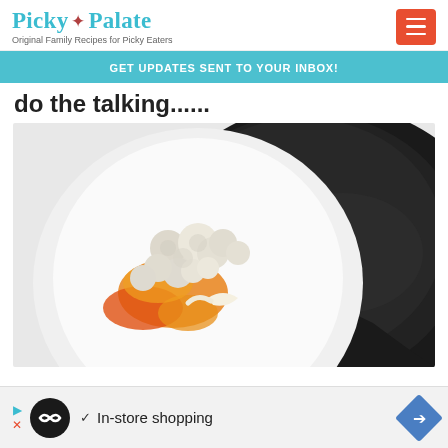Picky Palate — Original Family Recipes for Picky Eaters
GET UPDATES SENT TO YOUR INBOX!
do the talking......
[Figure (photo): Overhead view of a white plate with cauliflower, orange peppers, and other vegetables next to a large black non-stick pan/pot on a white surface.]
✓  In-store shopping